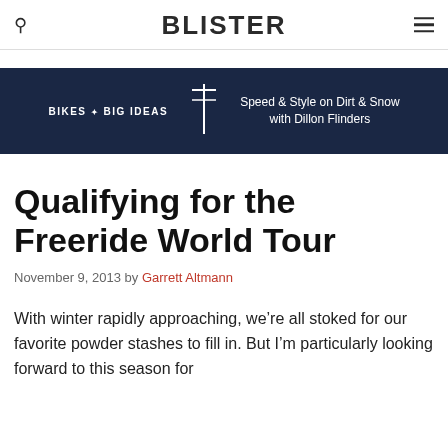BLISTER
[Figure (infographic): Dark navy banner with 'BIKES & BIG IDEAS' text on the left, a bicycle handlebar/fork icon in the center, and 'Speed & Style on Dirt & Snow with Dillon Flinders' text on the right]
Qualifying for the Freeride World Tour
November 9, 2013 by Garrett Altmann
With winter rapidly approaching, we're all stoked for our favorite powder stashes to fill in. But I'm particularly looking forward to this season for